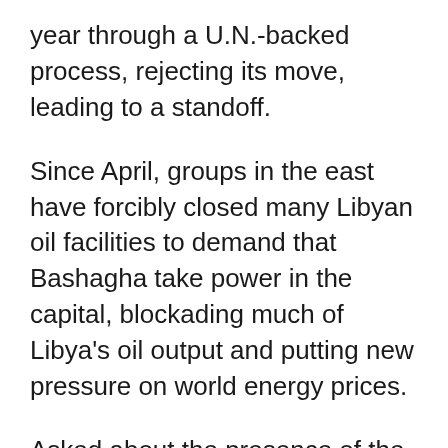year through a U.N.-backed process, rejecting its move, leading to a standoff.
Since April, groups in the east have forcibly closed many Libyan oil facilities to demand that Bashagha take power in the capital, blockading much of Libya's oil output and putting new pressure on world energy prices.
Asked about the presence of the Russian private military contractor Wagner Group in Libya, Bashagha said the group was in Libya but he stood by the 5+5 ceasefire committee, which includes five officers from each side of the 2014-20 conflict